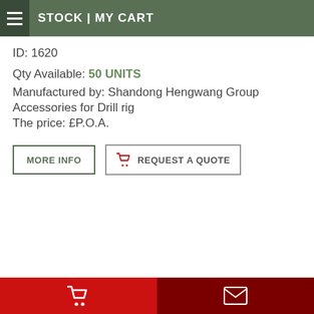STOCK | MY CART
ID: 1620
Qty Available: 50 UNITS
Manufactured by: Shandong Hengwang Group
Accessories for Drill rig
The price: £P.O.A.
MORE INFO
REQUEST A QUOTE